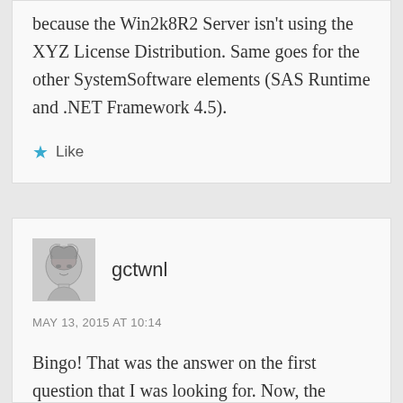because the Win2k8R2 Server isn't using the XYZ License Distribution. Same goes for the other SystemSoftware elements (SAS Runtime and .NET Framework 4.5).
★ Like
gctwnl
MAY 13, 2015 AT 10:14
Bingo! That was the answer on the first question that I was looking for. Now, the